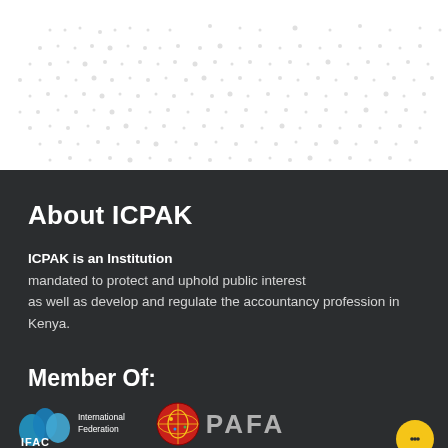[Figure (illustration): White background section with repeating dot/asterisk pattern in gray]
About ICPAK
ICPAK is an Institution mandated to protect and uphold public interest as well as develop and regulate the accountancy profession in Kenya.
Member Of:
[Figure (logo): IFAC (International Federation of Accountants) logo in blue with wave shapes, and PAFA logo with circular emblem]